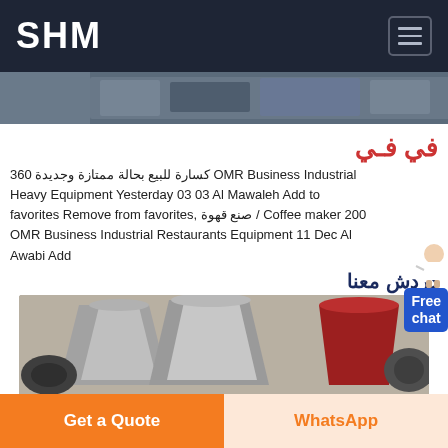SHM
[Figure (photo): Industrial machinery equipment photo at top]
في في
360 كسارة للبيع بحالة ممتازة وجديدة OMR Business Industrial Heavy Equipment Yesterday 03 03 Al Mawaleh Add to favorites Remove from favorites صنع قهوة / Coffee maker 200 OMR Business Industrial Restaurants Equipment 11 Dec Al Awabi Add
دردش معنا
[Figure (photo): Industrial crusher equipment cones photo]
Get a Quote
WhatsApp